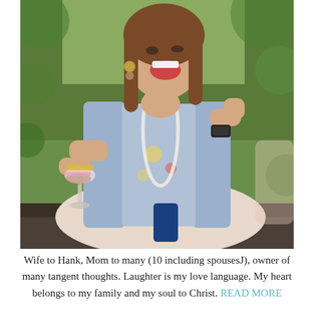[Figure (photo): A smiling woman sitting outdoors, wearing a denim jacket over a floral blouse with a pearl necklace, holding a wine glass, laughing joyfully. She has long brown hair and is seated against a lush green garden background.]
Wife to Hank, Mom to many (10 including spousesJ), owner of many tangent thoughts. Laughter is my love language. My heart belongs to my family and my soul to Christ. READ MORE